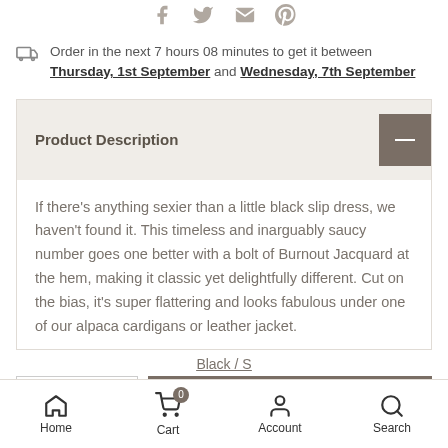[Figure (illustration): Social sharing icons: Facebook, Twitter, Email, Pinterest in gray]
Order in the next 7 hours 08 minutes to get it between Thursday, 1st September and Wednesday, 7th September
Product Description
If there's anything sexier than a little black slip dress, we haven't found it. This timeless and inarguably saucy number goes one better with a bolt of Burnout Jacquard at the hem, making it classic yet delightfully different. Cut on the bias, it's super flattering and looks fabulous under one of our alpaca cardigans or leather jacket.
Black / S
Home  Cart  Account  Search